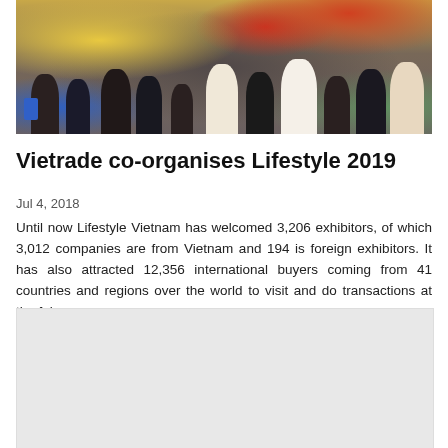[Figure (photo): Crowd of people at a trade fair/exhibition hall with colorful booths and banners in the background]
Vietrade co-organises Lifestyle 2019
Jul 4, 2018
Until now Lifestyle Vietnam has welcomed 3,206 exhibitors, of which 3,012 companies are from Vietnam and 194 is foreign exhibitors. It has also attracted 12,356 international buyers coming from 41 countries and regions over the world to visit and do transactions at the fair.
[Figure (photo): Second image placeholder (light gray box)]